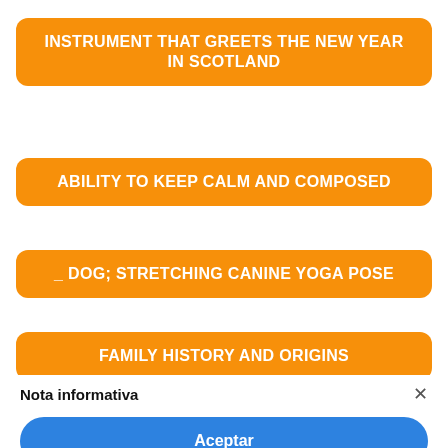INSTRUMENT THAT GREETS THE NEW YEAR IN SCOTLAND
ABILITY TO KEEP CALM AND COMPOSED
_ DOG; STRETCHING CANINE YOGA POSE
FAMILY HISTORY AND ORIGINS
Nota informativa
Aceptar
Saber más y personalizar